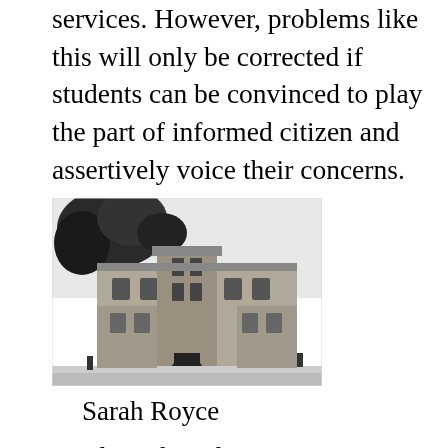services. However, problems like this will only be corrected if students can be convinced to play the part of informed citizen and assertively voice their concerns.
[Figure (photo): Black and white photograph of a large multi-story building, likely a university or school building, shown from street level.]
Sarah Royce
Unplowed roads create unnecessary hazards, even for good drivers. The University never closes because of show, and students who rely on their cars to get to school are put at unnecessary risk because their neighborhood roads are not cleared of snow. Furthermore,